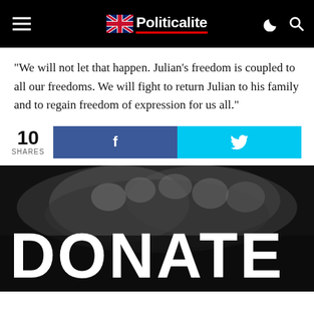Politicalite
“We will not let that happen. Julian’s freedom is coupled to all our freedoms. We will fight to return Julian to his family and to regain freedom of expression for us all.”
10 SHARES
[Figure (illustration): Black and white photo of clasped hands with large white bold text reading DONATE overlaid on the bottom portion]